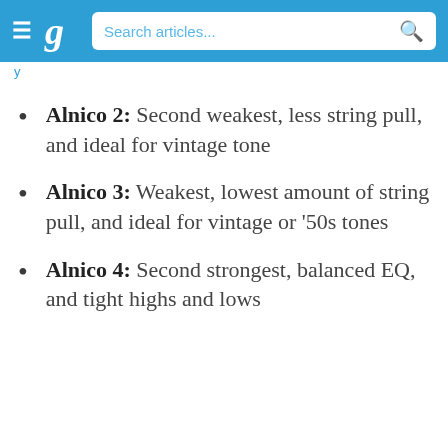g  Search articles...
Alnico 2: Second weakest, less string pull, and ideal for vintage tone
Alnico 3: Weakest, lowest amount of string pull, and ideal for vintage or '50s tones
Alnico 4: Second strongest, balanced EQ, and tight highs and lows